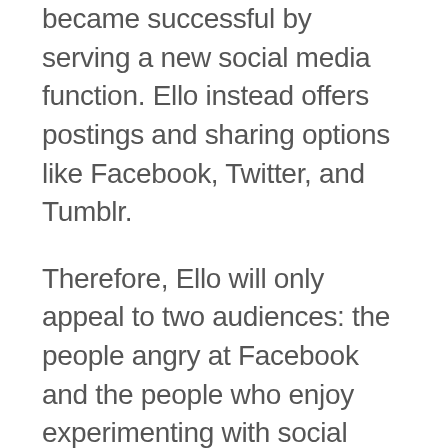became successful by serving a new social media function. Ello instead offers postings and sharing options like Facebook, Twitter, and Tumblr.
Therefore, Ello will only appeal to two audiences: the people angry at Facebook and the people who enjoy experimenting with social media. Otherwise, people likely will not bother to learn their way around a platform with features that existing websites offer. And already, audiences doubt that Ello will keep its promise to remain ad-free. At some point, Ello will need to make money to pay salaries for a team that can maintain the website, create enticing features, keep up with invitation requests, and stay competitive. The current proposal from Ello is to charge for specific features (which don't exist yet) from the one million users Ello could